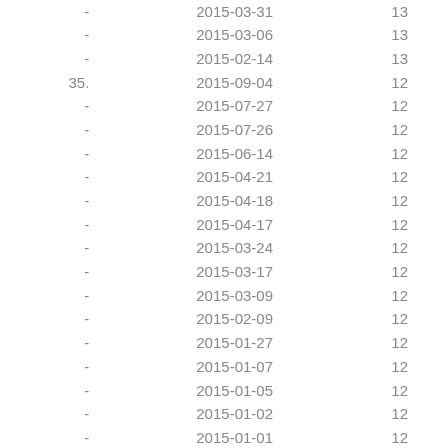| # | Date | Count |
| --- | --- | --- |
| - | 2015-03-31 | 13 |
| - | 2015-03-06 | 13 |
| - | 2015-02-14 | 13 |
| 35. | 2015-09-04 | 12 |
| - | 2015-07-27 | 12 |
| - | 2015-07-26 | 12 |
| - | 2015-06-14 | 12 |
| - | 2015-04-21 | 12 |
| - | 2015-04-18 | 12 |
| - | 2015-04-17 | 12 |
| - | 2015-03-24 | 12 |
| - | 2015-03-17 | 12 |
| - | 2015-03-09 | 12 |
| - | 2015-02-09 | 12 |
| - | 2015-01-27 | 12 |
| - | 2015-01-07 | 12 |
| - | 2015-01-05 | 12 |
| - | 2015-01-02 | 12 |
| - | 2015-01-01 | 12 |
| 51. | 2015-11-18 | 11 |
| - | 2015-11-13 | 11 |
| - | 2015-11-03 | 11 |
| - | 2015-09-06 | 11 |
| - | 2015-07-09 | 11 |